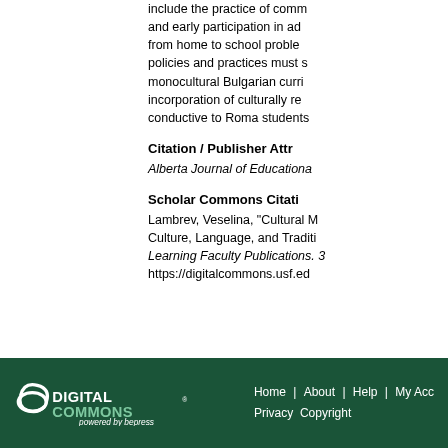include the practice of comm and early participation in ad from home to school proble policies and practices must s monocultural Bulgarian curri incorporation of culturally re conductive to Roma students
Citation / Publisher Attr
Alberta Journal of Educationa
Scholar Commons Citati
Lambrev, Veselina, "Cultural M Culture, Language, and Traditi Learning Faculty Publications. 3 https://digitalcommons.usf.ed
[Figure (logo): Digital Commons powered by bepress logo in white on dark green background]
Home | About | Help | My Acc Privacy Copyright